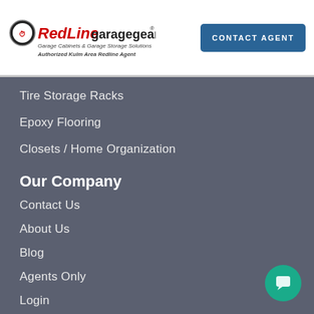[Figure (logo): RedLine Garage Gear logo with speedometer icon, red and black text, with taglines 'Garage Cabinets & Garage Storage Solutions' and 'Authorized Kulm Area Redline Agent']
CONTACT AGENT
Tire Storage Racks
Epoxy Flooring
Closets / Home Organization
Our Company
Contact Us
About Us
Blog
Agents Only
Login
Privacy Policy